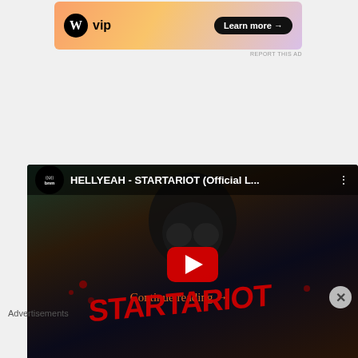[Figure (screenshot): WordPress VIP advertisement banner with gradient background, WP logo, 'vip' text, and 'Learn more →' button]
REPORT THIS AD
[Figure (screenshot): YouTube video thumbnail for 'HELLYEAH - STARTARIOT (Official L...' showing dark metal artwork with gas mask, red dripping STARTARIOT text, and red YouTube play button]
Continue reading →
Advertisements
[Figure (screenshot): Macy's advertisement: 'KISS BORING LIPS GOODBYE' with SHOP NOW button and Macy's star logo on dark background with model]